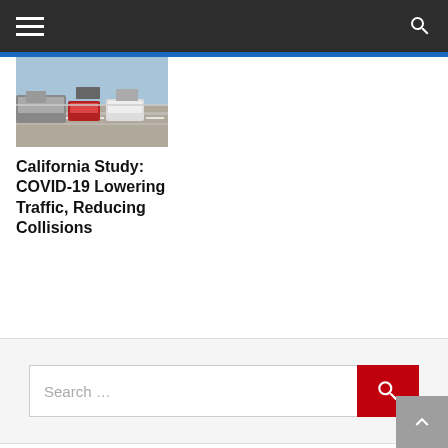Navigation bar with hamburger menu and search icon
[Figure (photo): Highway traffic photo showing cars and trucks on a multi-lane freeway]
California Study: COVID-19 Lowering Traffic, Reducing Collisions